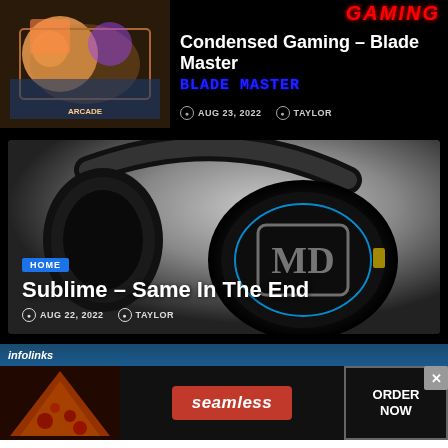[Figure (screenshot): Gaming website card showing Condensed Gaming – Blade Master with game artwork thumbnail and blue pixel-font BLADE MASTER logo]
Condensed Gaming – Blade Master
AUG 23, 2022  TAYLOR
[Figure (photo): Black over-ear headphones on grey background with MD watermark logo overlay]
HOME
Sublime – Same In The End
AUG 22, 2022  TAYLOR
[Figure (screenshot): Infolinks advertisement bar with Seamless food delivery ad showing pizza image, Seamless red button, and ORDER NOW button with close X]
infolinks
seamless  ORDER NOW